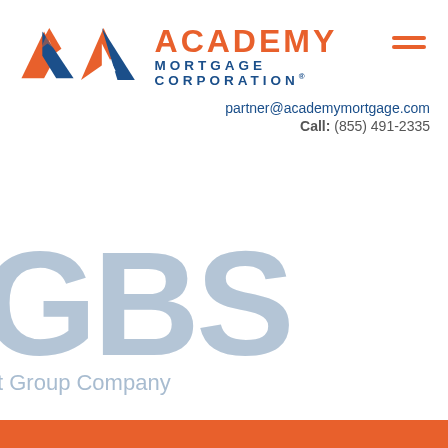[Figure (logo): Academy Mortgage Corporation logo with orange/blue A-shaped icon and text]
partner@academymortgage.com
Call: (855) 491-2335
[Figure (logo): GBS - a Hewitt Group Company partial logo in light steel blue]
itt Group Company